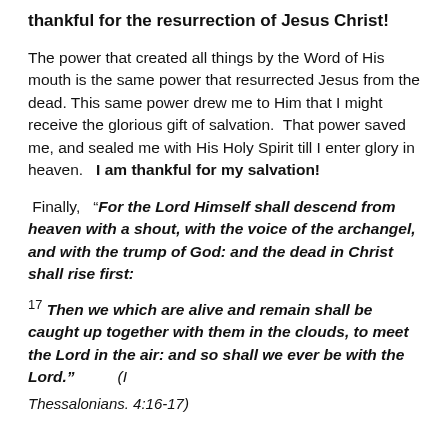thankful for the resurrection of Jesus Christ!
The power that created all things by the Word of His mouth is the same power that resurrected Jesus from the dead. This same power drew me to Him that I might receive the glorious gift of salvation.  That power saved me, and sealed me with His Holy Spirit till I enter glory in heaven.   I am thankful for my salvation!
Finally,  “For the Lord Himself shall descend from heaven with a shout, with the voice of the archangel, and with the trump of God: and the dead in Christ shall rise first:
17 Then we which are alive and remain shall be caught up together with them in the clouds, to meet the Lord in the air: and so shall we ever be with the Lord.”        (I Thessalonians. 4:16-17)